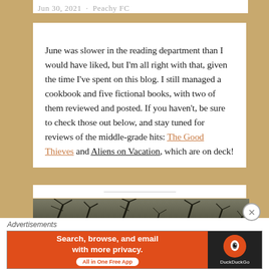Jun 30, 2021 · Peachy FC
June was slower in the reading department than I would have liked, but I'm all right with that, given the time I've spent on this blog. I still managed a cookbook and five fictional books, with two of them reviewed and posted. If you haven't, be sure to check those out below, and stay tuned for reviews of the middle-grade hits: The Good Thieves and Aliens on Vacation, which are on deck!
[Figure (photo): Dark tree branches against a dim sky, partially visible at bottom of main content area]
Advertisements
[Figure (screenshot): DuckDuckGo advertisement banner: 'Search, browse, and email with more privacy. All in One Free App' on orange background with DuckDuckGo logo on dark background]